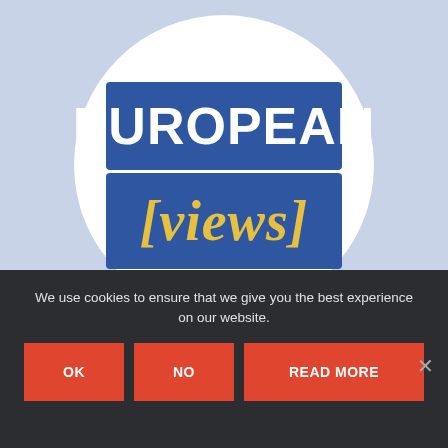[Figure (logo): European Views logo: a circular white badge on a light blue background. The circle contains two rectangular banners in dark blue. The top banner has bold white text 'EUROPEAN'. The bottom banner has bold italic golden-yellow text '[views]'.]
We use cookies to ensure that we give you the best experience on our website.
OK
NO
READ MORE